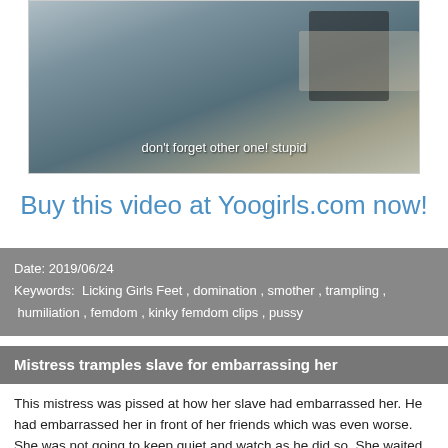[Figure (photo): Video thumbnail showing a person in a room with shelves, subtitle overlay reads: don't forget other one! stupid]
Buy this video at Yoogirls.com now!
Date: 2019/06/24
Keywords: Licking Girls Feet , domination , smother , trampling , humiliation , femdom , kinky femdom clips , pussy
Mistress tramples slave for embarrassing her
This mistress was pissed at how her slave had embarrassed her. He had embarrassed her in front of her friends which was even worse. She was not going to keep quiet and watch as he did so. She waited for the friends to leave and she dealt with him cruelly. She trampled his body with her high heel boots as well as with her bare feet and inflicted a lot of pain on him.